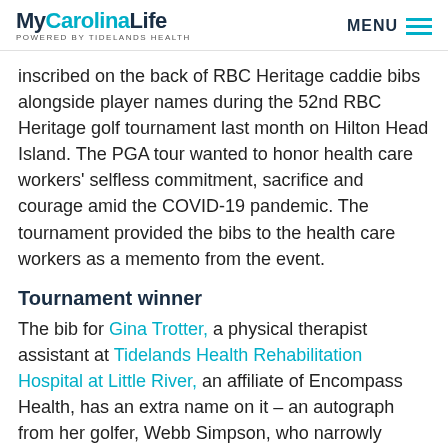MyCarolinaLife POWERED BY TIDELANDS HEALTH | MENU
inscribed on the back of RBC Heritage caddie bibs alongside player names during the 52nd RBC Heritage golf tournament last month on Hilton Head Island. The PGA tour wanted to honor health care workers’ selfless commitment, sacrifice and courage amid the COVID-19 pandemic. The tournament provided the bibs to the health care workers as a memento from the event.
Tournament winner
The bib for Gina Trotter, a physical therapist assistant at Tidelands Health Rehabilitation Hospital at Little River, an affiliate of Encompass Health, has an extra name on it – an autograph from her golfer, Webb Simpson, who narrowly edged out several